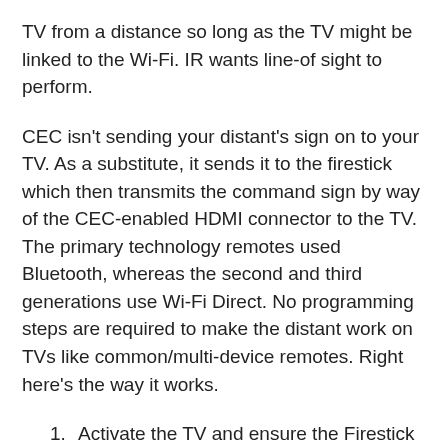TV from a distance so long as the TV might be linked to the Wi-Fi. IR wants line-of sight to perform.
CEC isn't sending your distant's sign on to your TV. As a substitute, it sends it to the firestick which then transmits the command sign by way of the CEC-enabled HDMI connector to the TV. The primary technology remotes used Bluetooth, whereas the second and third generations use Wi-Fi Direct. No programming steps are required to make the distant work on TVs like common/multi-device remotes. Right here's the way it works.
Activate the TV and ensure the Firestick is linked to energy.